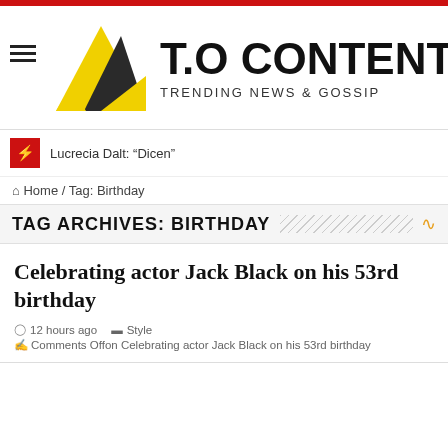[Figure (logo): T.O Content website logo with geometric yellow and dark grey triangles and bold site name T.O CONTENT with tagline TRENDING NEWS & GOSSIP]
Lucrecia Dalt: “Dicen”
⌂ Home / Tag: Birthday
TAG ARCHIVES: BIRTHDAY
Celebrating actor Jack Black on his 53rd birthday
12 hours ago   Style
Comments Offon Celebrating actor Jack Black on his 53rd birthday